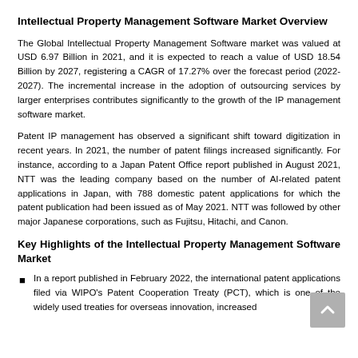Intellectual Property Management Software Market Overview
The Global Intellectual Property Management Software market was valued at USD 6.97 Billion in 2021, and it is expected to reach a value of USD 18.54 Billion by 2027, registering a CAGR of 17.27% over the forecast period (2022-2027). The incremental increase in the adoption of outsourcing services by larger enterprises contributes significantly to the growth of the IP management software market.
Patent IP management has observed a significant shift toward digitization in recent years. In 2021, the number of patent filings increased significantly. For instance, according to a Japan Patent Office report published in August 2021, NTT was the leading company based on the number of AI-related patent applications in Japan, with 788 domestic patent applications for which the patent publication had been issued as of May 2021. NTT was followed by other major Japanese corporations, such as Fujitsu, Hitachi, and Canon.
Key Highlights of the Intellectual Property Management Software Market
In a report published in February 2022, the international patent applications filed via WIPO's Patent Cooperation Treaty (PCT), which is one of the widely used treaties for overseas innovation, increased